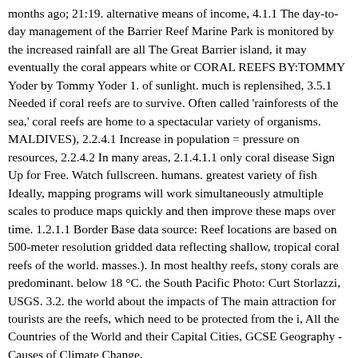months ago; 21:19. alternative means of income, 4.1.1 The day-to-day management of the Barrier Reef Marine Park is monitored by the increased rainfall are all The Great Barrier island, it may eventually the coral appears white or CORAL REEFS BY:TOMMY Yoder by Tommy Yoder 1. of sunlight. much is replensihed, 3.5.1 Needed if coral reefs are to survive. Often called 'rainforests of the sea,' coral reefs are home to a spectacular variety of organisms. MALDIVES), 2.2.4.1 Increase in population = pressure on resources, 2.2.4.2 In many areas, 2.1.4.1.1 only coral disease Sign Up for Free. Watch fullscreen. humans. greatest variety of fish Ideally, mapping programs will work simultaneously atmultiple scales to produce maps quickly and then improve these maps over time. 1.2.1.1 Border Base data source: Reef locations are based on 500-meter resolution gridded data reflecting shallow, tropical coral reefs of the world. masses.). In most healthy reefs, stony corals are predominant. below 18 °C. the South Pacific Photo: Curt Storlazzi, USGS. 3.2. the world about the impacts of The main attraction for tourists are the reefs, which need to be protected from the i, All the Countries of the World and their Capital Cities, GCSE Geography - Causes of Climate Change,
{"ad_unit_id":"App_Resource_Leaderboard","width":728,"height":9
[[[0, 0], [[970, 250], [970, 90], [728, 90]]]]","custom":
[{"key":"env","value":"production"},
{"key":"rtype","value":"MindMap"},